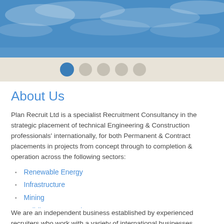[Figure (photo): Blue sky with clouds hero banner image at the top of the page]
About Us
Plan Recruit Ltd is a specialist Recruitment Consultancy in the strategic placement of technical Engineering & Construction professionals' internationally, for both Permanent & Contract placements in projects from concept through to completion & operation across the following sectors:
Renewable Energy
Infrastructure
Mining
Building Construction
We are an independent business established by experienced recruiters who work with a variety of international businesses